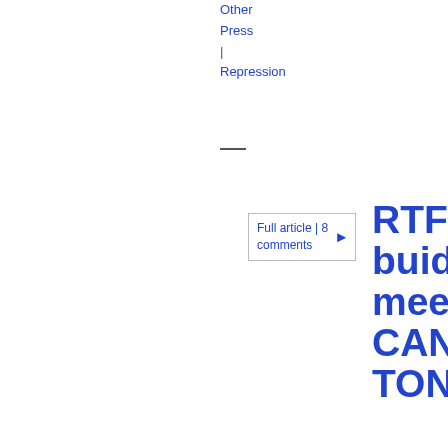Other
Press
|
Repression
RTF buiding meeting CANCELLED TONIGHT
Full article | 8 comments
05-04-2007 16:13
The Police, the English Partnership and Royal Bank of Scotland working